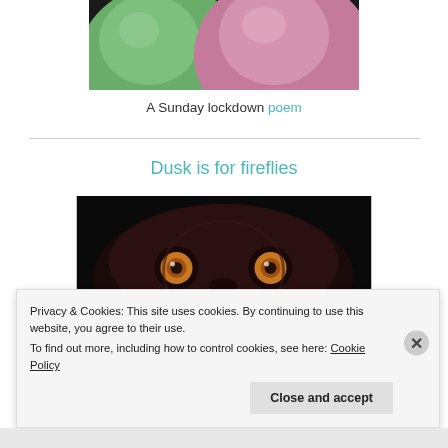[Figure (photo): Close-up photo of colorful round objects (green and pink/mauve), possibly macarons or Easter eggs, on dark background]
A Sunday lockdown poem
Dusk is for fireflies
[Figure (photo): Close-up photo of an owl with glowing orange eyes against a dark background]
Privacy & Cookies: This site uses cookies. By continuing to use this website, you agree to their use. To find out more, including how to control cookies, see here: Cookie Policy